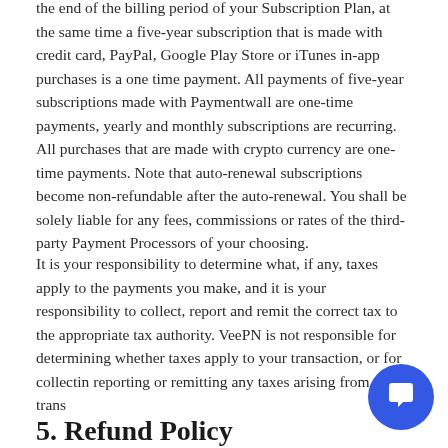the end of the billing period of your Subscription Plan, at the same time a five-year subscription that is made with credit card, PayPal, Google Play Store or iTunes in-app purchases is a one time payment. All payments of five-year subscriptions made with Paymentwall are one-time payments, yearly and monthly subscriptions are recurring. All purchases that are made with crypto currency are one-time payments. Note that auto-renewal subscriptions become non-refundable after the auto-renewal. You shall be solely liable for any fees, commissions or rates of the third-party Payment Processors of your choosing.
It is your responsibility to determine what, if any, taxes apply to the payments you make, and it is your responsibility to collect, report and remit the correct tax to the appropriate tax authority. VeePN is not responsible for determining whether taxes apply to your transaction, or for collecting, reporting or remitting any taxes arising from any trans...
5. Refund Policy